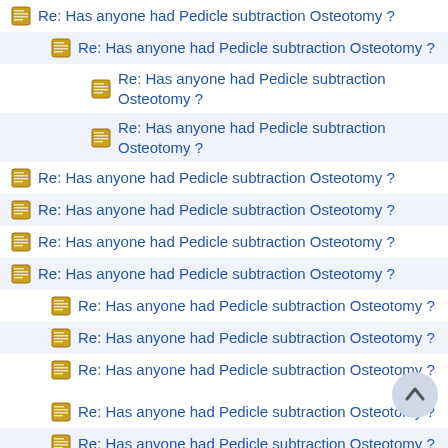Re: Has anyone had Pedicle subtraction Osteotomy ?
Re: Has anyone had Pedicle subtraction Osteotomy ?
Re: Has anyone had Pedicle subtraction Osteotomy ?
Re: Has anyone had Pedicle subtraction Osteotomy ?
Re: Has anyone had Pedicle subtraction Osteotomy ?
Re: Has anyone had Pedicle subtraction Osteotomy ?
Re: Has anyone had Pedicle subtraction Osteotomy ?
Re: Has anyone had Pedicle subtraction Osteotomy ?
Re: Has anyone had Pedicle subtraction Osteotomy ?
Re: Has anyone had Pedicle subtraction Osteotomy ?
Re: Has anyone had Pedicle subtraction Osteotomy ?
Re: Has anyone had Pedicle subtraction Osteotomy ?
Re: Has anyone had Pedicle subtraction Osteotomy ?
Re: Has anyone had Pedicle subtraction Osteotomy ?